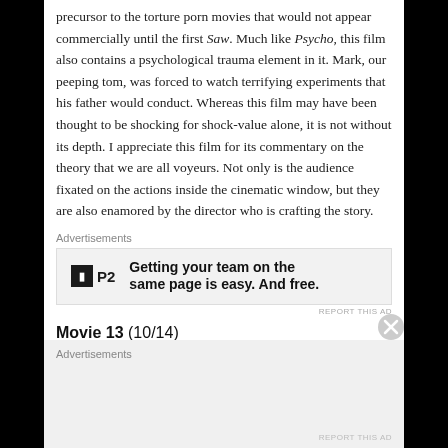precursor to the torture porn movies that would not appear commercially until the first Saw. Much like Psycho, this film also contains a psychological trauma element in it. Mark, our peeping tom, was forced to watch terrifying experiments that his father would conduct. Whereas this film may have been thought to be shocking for shock-value alone, it is not without its depth. I appreciate this film for its commentary on the theory that we are all voyeurs. Not only is the audience fixated on the actions inside the cinematic window, but they are also enamored by the director who is crafting the story.
Advertisements
[Figure (screenshot): Advertisement banner for P2 product with logo and text 'Getting your team on the same page is easy. And free.']
REPORT THIS AD
Movie 13 (10/14)
Advertisements
REPORT THIS AD